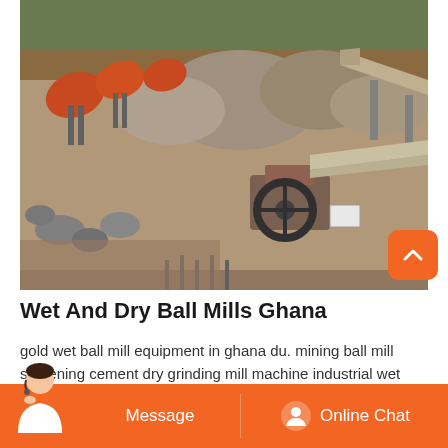[Figure (photo): Aerial/ground-level view of a mining and crushing plant site with industrial machinery including ball mills (orange/red cylindrical drums), conveyor belts, jaw crushers, and piles of aggregate material. The site appears to be a quarry or mining operation.]
Wet And Dry Ball Mills Ghana
gold wet ball mill equipment in ghana du. mining ball mill screening cement dry grinding mill machine industrial wet gold ore mining ball